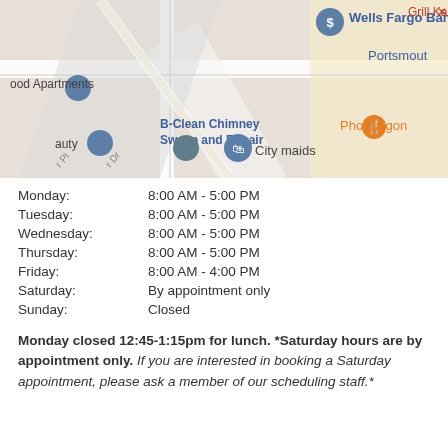[Figure (map): Google Maps screenshot showing local businesses including Wells Fargo Bank, B-Clean Chimney Sweep and Repair, City maids, Pho Saigon, Grill Kabob, Portsmouth, and wood Apartments with map pins.]
| Day | Hours |
| --- | --- |
| Monday: | 8:00 AM - 5:00 PM |
| Tuesday: | 8:00 AM - 5:00 PM |
| Wednesday: | 8:00 AM - 5:00 PM |
| Thursday: | 8:00 AM - 5:00 PM |
| Friday: | 8:00 AM - 4:00 PM |
| Saturday: | By appointment only |
| Sunday: | Closed |
Monday closed 12:45-1:15pm for lunch. *Saturday hours are by appointment only. If you are interested in booking a Saturday appointment, please ask a member of our scheduling staff.*